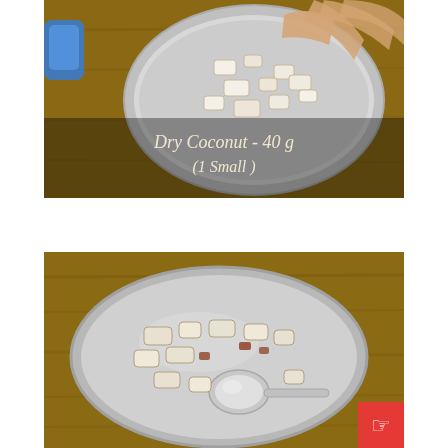[Figure (photo): Top-down view of a metal bowl with dry coconut pieces being handled by a hand. A blue object is visible on the left. Text overlay reads 'Dry Coconut - 40 g (1 Small)' on a dark semi-transparent background.]
[Figure (photo): Top-down view of a stainless steel bowl containing chopped dry coconut pieces and a metal spoon, placed on a wooden surface. A red button with a hand/pointer icon is visible in the bottom right corner.]